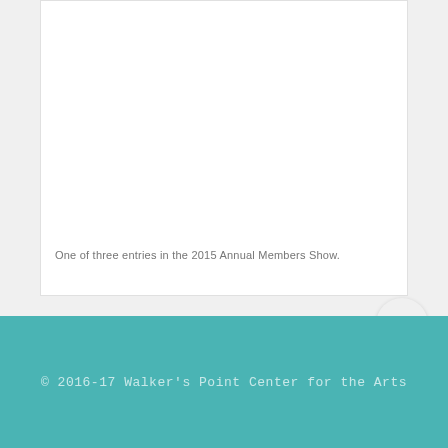[Figure (photo): White card/image area for an artwork entry in the 2015 Annual Members Show]
One of three entries in the 2015 Annual Members Show.
© 2016-17 Walker's Point Center for the Arts